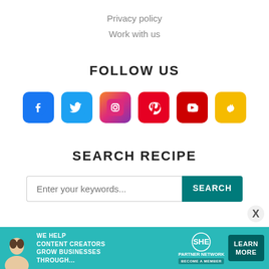Privacy policy
Work with us
FOLLOW US
[Figure (infographic): Six social media icons in colored rounded square boxes: Facebook (blue), Twitter (light blue), Instagram (pink/purple gradient), Pinterest (red), YouTube (red), and a fire icon (yellow/gold)]
SEARCH RECIPE
Enter your keywords...
[Figure (infographic): Advertisement banner: SHE Media partner network - We help content creators grow businesses through... with a Learn More button]